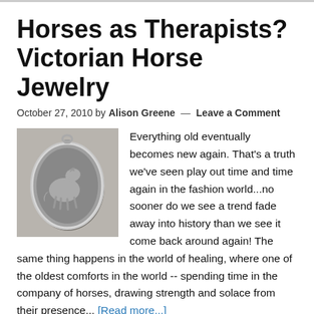Horses as Therapists? Victorian Horse Jewelry
October 27, 2010 by Alison Greene — Leave a Comment
[Figure (photo): Silver Victorian horse locket pendant with ornate oval frame and horse relief design]
Everything old eventually becomes new again.  That's a truth we've seen play out time and time again in the fashion world...no sooner do we see a trend fade away into history than we see it come back around again!  The same thing happens in the world of healing, where one of the oldest comforts in the world -- spending time in the company of horses, drawing strength and solace from their presence... [Read more...]